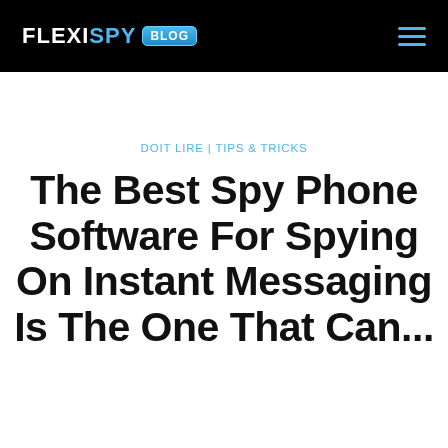FLEXISPY BLOG
DOIT LIRE | TIPS & TRICKS
The Best Spy Phone Software For Spying On Instant Messaging Is The One That Can...